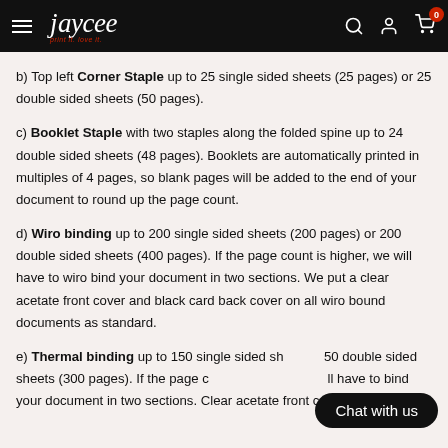jaycee print it. love it.
b) Top left Corner Staple up to 25 single sided sheets (25 pages) or 25 double sided sheets (50 pages).
c) Booklet Staple with two staples along the folded spine up to 24 double sided sheets (48 pages). Booklets are automatically printed in multiples of 4 pages, so blank pages will be added to the end of your document to round up the page count.
d) Wiro binding up to 200 single sided sheets (200 pages) or 200 double sided sheets (400 pages). If the page count is higher, we will have to wiro bind your document in two sections. We put a clear acetate front cover and black card back cover on all wiro bound documents as standard.
e) Thermal binding up to 150 single sided sheets (150 pages) or 150 double sided sheets (300 pages). If the page count is higher, we will have to bind your document in two sections. Clear acetate front cover